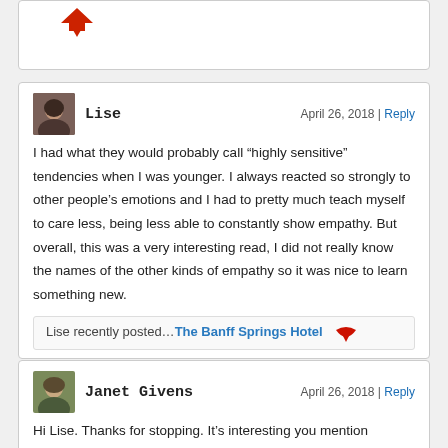[Figure (illustration): Partial top comment box with a red downward arrow icon visible at top]
Lise
April 26, 2018 | Reply
I had what they would probably call “highly sensitive” tendencies when I was younger. I always reacted so strongly to other people’s emotions and I had to pretty much teach myself to care less, being less able to constantly show empathy. But overall, this was a very interesting read, I did not really know the names of the other kinds of empathy so it was nice to learn something new.
Lise recently posted…The Banff Springs Hotel
Janet Givens
April 26, 2018 | Reply
Hi Lise. Thanks for stopping. It’s interesting you mention “empath” qualities. Some researchers use empathic as synonymous with